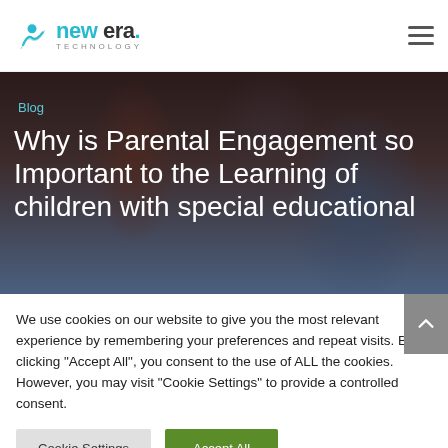new era. TECHNOLOGY
[Figure (photo): Hero image with dark overlay showing children studying, used as blog post header background]
Blog
Why is Parental Engagement so Important to the Learning of children with special educational
We use cookies on our website to give you the most relevant experience by remembering your preferences and repeat visits. By clicking "Accept All", you consent to the use of ALL the cookies. However, you may visit "Cookie Settings" to provide a controlled consent.
Cookie Settings
Accept All